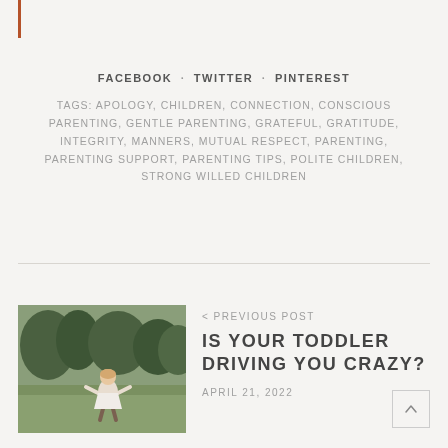FACEBOOK · TWITTER · PINTEREST
TAGS: APOLOGY, CHILDREN, CONNECTION, CONSCIOUS PARENTING, GENTLE PARENTING, GRATEFUL, GRATITUDE, INTEGRITY, MANNERS, MUTUAL RESPECT, PARENTING, PARENTING SUPPORT, PARENTING TIPS, POLITE CHILDREN, STRONG WILLED CHILDREN
< PREVIOUS POST
[Figure (photo): A young toddler girl in a white dress running on grass with trees in the background]
IS YOUR TODDLER DRIVING YOU CRAZY?
APRIL 21, 2022